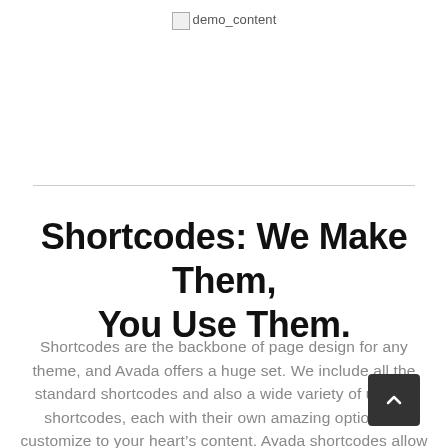demo_content
Shortcodes: We Make Them, You Use Them.
Shortcodes are the backbone of page design for any theme, and Avada offers a huge set. We include all the standard shortcodes and also a wide variety of unique shortcodes, each with their own amazing options to customize to your heart’s content. Avada shortcodes allow you to build a variety of pages, and with our shortcode generator it’s not only useful, it’s fun.